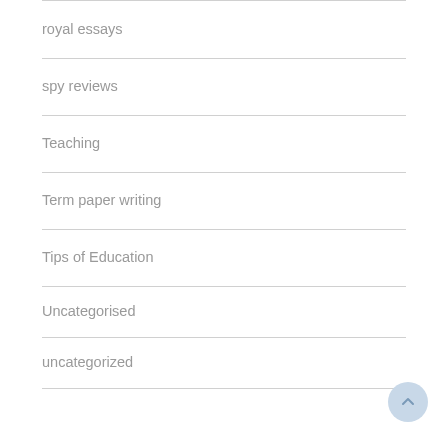royal essays
spy reviews
Teaching
Term paper writing
Tips of Education
Uncategorised
uncategorized
Writers News
Writing Tips
논문 대필업체
논문 대필업체02